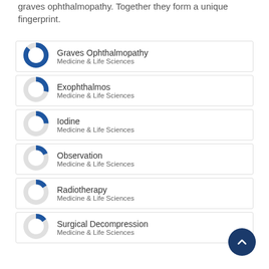graves ophthalmopathy. Together they form a unique fingerprint.
Graves Ophthalmopathy — Medicine & Life Sciences
Exophthalmos — Medicine & Life Sciences
Iodine — Medicine & Life Sciences
Observation — Medicine & Life Sciences
Radiotherapy — Medicine & Life Sciences
Surgical Decompression — Medicine & Life Sciences